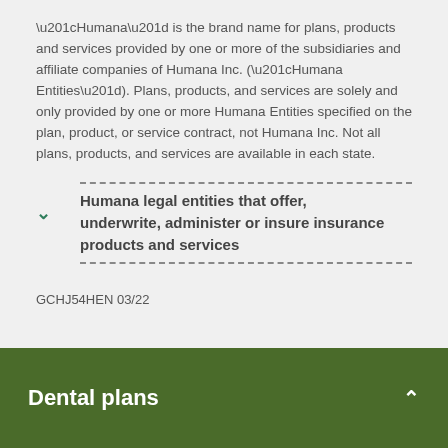“Humana” is the brand name for plans, products and services provided by one or more of the subsidiaries and affiliate companies of Humana Inc. (“Humana Entities”). Plans, products, and services are solely and only provided by one or more Humana Entities specified on the plan, product, or service contract, not Humana Inc. Not all plans, products, and services are available in each state.
Humana legal entities that offer, underwrite, administer or insure insurance products and services
GCHJ54HEN 03/22
Dental plans